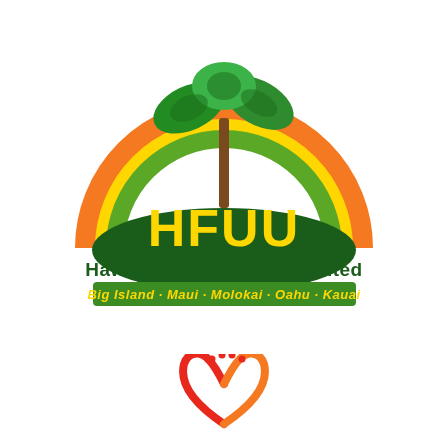[Figure (logo): Hawaii Farmers Union United (HFUU) logo featuring a rainbow arc in orange, yellow, and green over a dark green hill with a taro plant, with yellow HFUU text and dark green 'Hawaii Farmers Union United' below, and a green banner reading 'Big Island - Maui - Molokai - Oahu - Kauai']
[Figure (logo): Partial view of a heart-shaped logo in red and orange with small red dots at top, shown cropped at bottom of page]